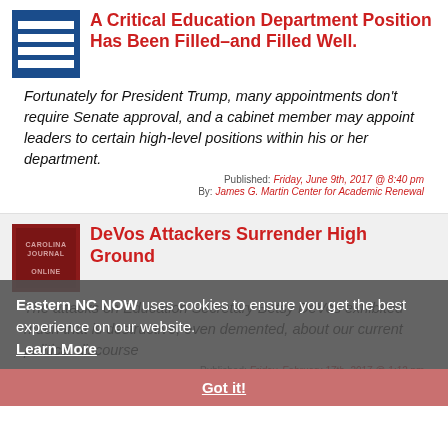A Critical Education Department Position Has Been Filled–and Filled Well.
Fortunately for President Trump, many appointments don't require Senate approval, and a cabinet member may appoint leaders to certain high-level positions within his or her department.
Published: Friday, June 9th, 2017 @ 8:40 pm
By: James G. Martin Center for Academic Renewal
DeVos Attackers Surrender High Ground
The attacks on Education Secretary Betsy DeVos exhibited much that is destructive, even demented, about our current political discourse
Published: Friday, February 17th, 2017 @ 1:12 pm
By: John Locke Foundation
Eastern NC NOW uses cookies to ensure you get the best experience on our website. Learn More
Got it!